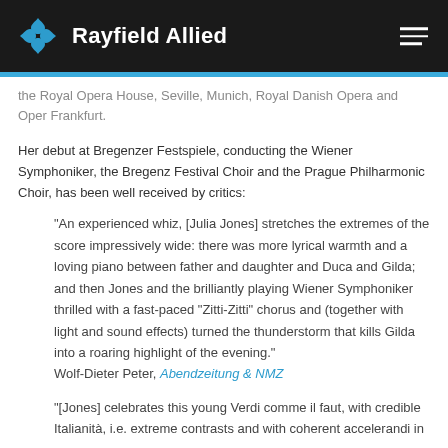Rayfield Allied
the Royal Opera House, Seville, Munich, Royal Danish Opera and Oper Frankfurt.
Her debut at Bregenzer Festspiele, conducting the Wiener Symphoniker, the Bregenz Festival Choir and the Prague Philharmonic Choir, has been well received by critics:
"An experienced whiz, [Julia Jones] stretches the extremes of the score impressively wide: there was more lyrical warmth and a loving piano between father and daughter and Duca and Gilda; and then Jones and the brilliantly playing Wiener Symphoniker thrilled with a fast-paced "Zitti-Zitti" chorus and (together with light and sound effects) turned the thunderstorm that kills Gilda into a roaring highlight of the evening." Wolf-Dieter Peter, Abendzeitung & NMZ
"[Jones] celebrates this young Verdi comme il faut, with credible Italianità, i.e. extreme contrasts and with coherent accelerandi in